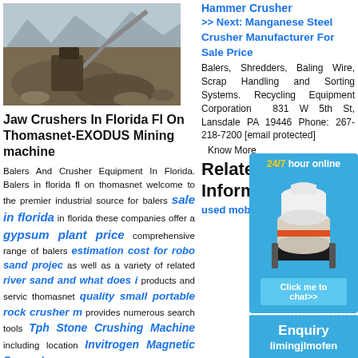[Figure (photo): Mining jaw crusher machine at a quarry site]
Jaw Crushers In Florida Fl On Thomasnet-EXODUS Mining machine
Balers And Crusher Equipment In Florida. Balers in florida fl on thomasnet welcome to the premier industrial source for balers in florida these companies offer a comprehensive range of balers as well as a variety of related products and servic thomasnet provides numerous search tools including location certification and keyword filters to help
Hammer Crusher
>> Next: Manganese Steel Crusher Manufacturer For Sale Price
Balers, Shredders, Baling Wire, Scrap Handling and Sorting Systems. Recycling Equipment Corporation 831 W 5th St, Lansdale PA 19446 Phone: 267-218-7200 [email protected]
Know More
Related Informa
used mobile
sale in florida
gypsum plant price
estimation cost for robo sand projec
river sand and what does i
quality small portable rock crusher m
Tph Stone Crushing Machine
Invitrogen Magnetic Separator
J.M Stone Crusher Kenya
jaw crusher menggantikan
flotation iron additives
[Figure (photo): Cone/gyratory crusher machine - white and red industrial equipment]
24/7 hour online
Click me to chat>>
Enquiry
limingjlmofen